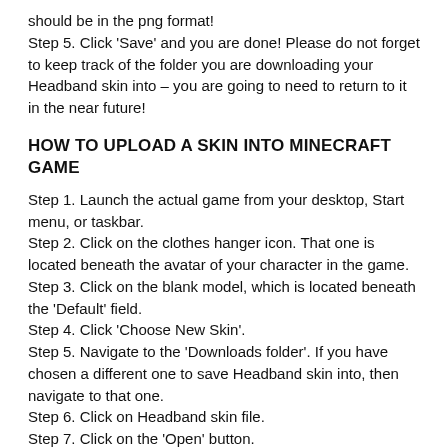should be in the png format! Step 5. Click 'Save' and you are done! Please do not forget to keep track of the folder you are downloading your Headband skin into – you are going to need to return to it in the near future!
HOW TO UPLOAD A SKIN INTO MINECRAFT GAME
Step 1. Launch the actual game from your desktop, Start menu, or taskbar.
Step 2. Click on the clothes hanger icon. That one is located beneath the avatar of your character in the game.
Step 3. Click on the blank model, which is located beneath the 'Default' field.
Step 4. Click 'Choose New Skin'.
Step 5. Navigate to the 'Downloads folder'. If you have chosen a different one to save Headband skin into, then navigate to that one.
Step 6. Click on Headband skin file.
Step 7. Click on the 'Open' button.
Step 8. Click the model type that you think looks best.
Step 9. Click 'Confirm Skin'
Congratulations! You can now wear the skin of Headband in the Minecraft game.